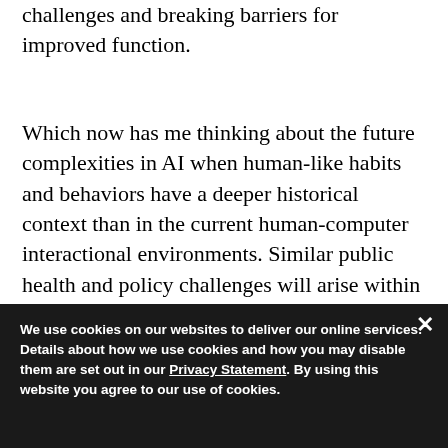challenges and breaking barriers for improved function.
Which now has me thinking about the future complexities in AI when human-like habits and behaviors have a deeper historical context than in the current human-computer interactional environments. Similar public health and policy challenges will arise within AI. Only who can say now what these might look like. What the most complex problems to solve might be like.
We need many more humans thinking and more. new best |
We use cookies on our websites to deliver our online services. Details about how we use cookies and how you may disable them are set out in our Privacy Statement. By using this website you agree to our use of cookies.